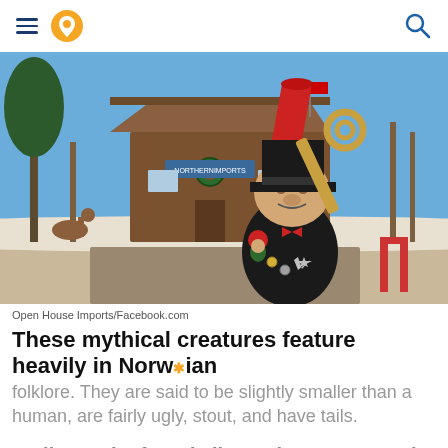Navigation header with hamburger menu, location pin icon, and search icon
[Figure (photo): A large troll statue wearing a black coat, black top hat with red cone on top, holding a large key over its shoulder and a small gnome figure, standing in front of a wood-sided building (Open House Imports) with a wreath on the door, flags, and bare winter trees under a blue sky. Snow is visible on the ground.]
Open House Imports/Facebook.com
These mythical creatures feature heavily in Norwegian folklore. They are said to be slightly smaller than a human, are fairly ugly, stout, and have tails.
Trolls can be found all over in Mount Horeb. The